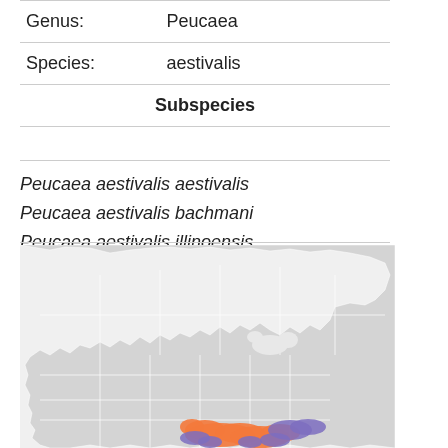| Genus: | Peucaea |
| Species: | aestivalis |
| Subspecies |  |
Peucaea aestivalis aestivalis
Peucaea aestivalis bachmani
Peucaea aestivalis illinoensis
[Figure (map): Distribution map of North America showing range of Peucaea aestivalis. The map shows gray landmass of USA and Canada with colored regions in the southeastern United States: orange regions indicating breeding range and purple/blue regions indicating year-round or wintering range.]